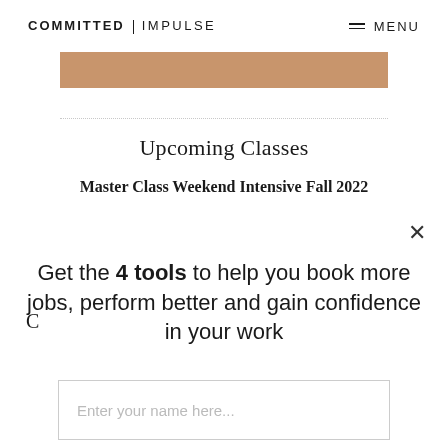COMMITTED | IMPULSE   MENU
[Figure (other): Brown/copper colored rectangular banner strip]
Upcoming Classes
Master Class Weekend Intensive Fall 2022
Get the 4 tools to help you book more jobs, perform better and gain confidence in your work
Enter your name here...